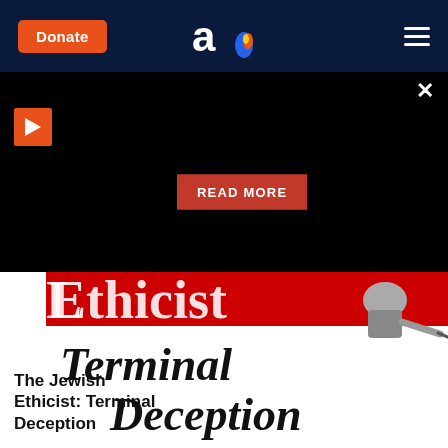Donate | [Aish logo] | [Menu]
[Figure (screenshot): Black video panel with play button (orange) at top-left, close button (×) at top-right, and a red READ MORE button centered at the bottom]
[Figure (photo): Book cover showing 'Ethicist' in large red and white text, with 'Terminal Deception' in large black italic serif font, and an illustration of a person writing]
The Jewish Ethicist: Terminal Deception